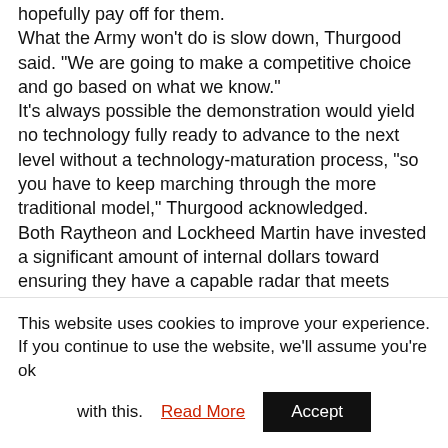hopefully pay off for them. What the Army won't do is slow down, Thurgood said. "We are going to make a competitive choice and go based on what we know." It's always possible the demonstration would yield no technology fully ready to advance to the next level without a technology-maturation process, "so you have to keep marching through the more traditional model," Thurgood acknowledged. Both Raytheon and Lockheed Martin have invested a significant amount of internal dollars toward ensuring they have a capable radar that meets predicted requirements going into a possible sensor competition, and both vendors have
This website uses cookies to improve your experience. If you continue to use the website, we'll assume you're ok with this. Read More Accept